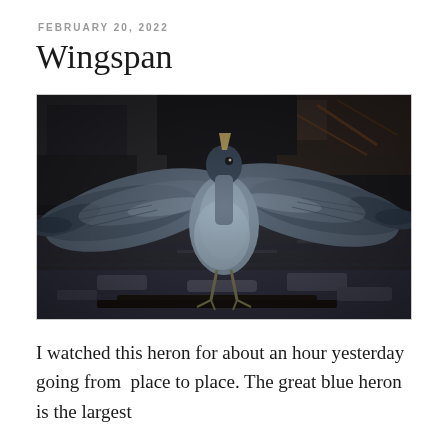FEBRUARY 20, 2022
Wingspan
[Figure (photo): A great blue heron with wings fully spread, photographed in low light near rushing water with rocks and debris in the background. The bird faces the camera with wings extended wide, showing blue-grey plumage.]
I watched this heron for about an hour yesterday going from  place to place. The great blue heron is the largest